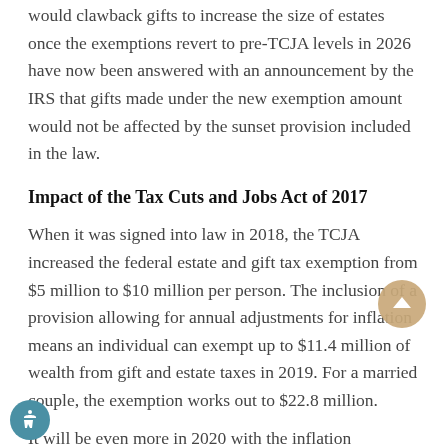would clawback gifts to increase the size of estates once the exemptions revert to pre-TCJA levels in 2026 have now been answered with an announcement by the IRS that gifts made under the new exemption amount would not be affected by the sunset provision included in the law.
Impact of the Tax Cuts and Jobs Act of 2017
When it was signed into law in 2018, the TCJA increased the federal estate and gift tax exemption from $5 million to $10 million per person. The inclusion of a provision allowing for annual adjustments for inflation means an individual can exempt up to $11.4 million of wealth from gift and estate taxes in 2019. For a married couple, the exemption works out to $22.8 million.
It will be even more in 2020 with the inflation adjustment. A person will be able to exempt from taxation of gifts and